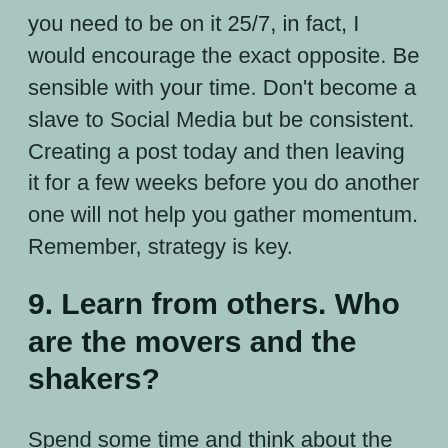you need to be on it 25/7, in fact, I would encourage the exact opposite. Be sensible with your time. Don't become a slave to Social Media but be consistent. Creating a post today and then leaving it for a few weeks before you do another one will not help you gather momentum. Remember, strategy is key.
9. Learn from others. Who are the movers and the shakers?
Spend some time and think about the biggest or followers. Social Media. Which